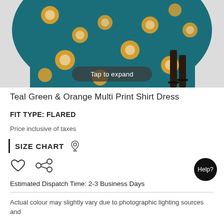[Figure (photo): Product photo of a teal green and orange floral print flared shirt dress, showing the lower half of the garment with the model wearing black strappy heels. A 'Tap to expand' button overlay is visible.]
Teal Green & Orange Multi Print Shirt Dress
FIT TYPE: FLARED
Price inclusive of taxes
SIZE CHART
[Figure (illustration): Heart (wishlist) icon and share icon]
Estimated Dispatch Time: 2-3 Business Days
Actual colour may slightly vary due to photographic lighting sources and